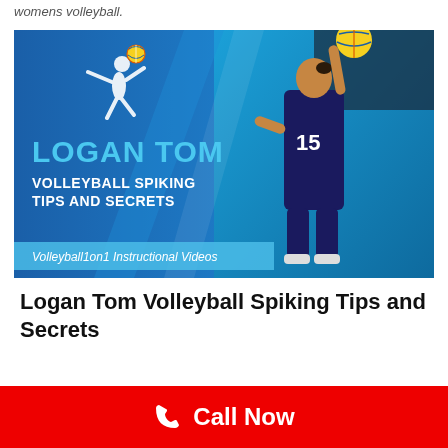womens volleyball.
[Figure (illustration): Promotional banner image for 'Logan Tom Volleyball Spiking Tips and Secrets' by Volleyball1on1 Instructional Videos. Blue background with white silhouette of a volleyball player on left, large text 'LOGAN TOM VOLLEYBALL SPIKING TIPS AND SECRETS', and a photo of a female volleyball player in USA #15 jersey spiking a ball on the right.]
Logan Tom Volleyball Spiking Tips and Secrets
BEGINNER, YOUTH AND KIDS DRILLS
COACHING
Call Now